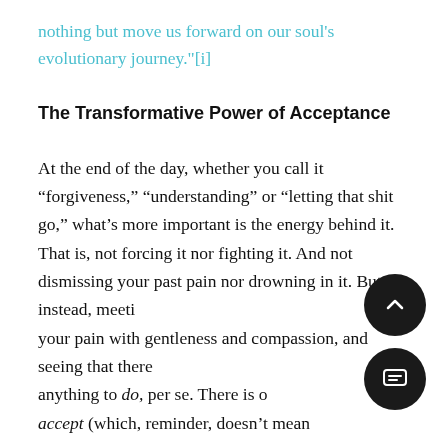nothing but move us forward on our soul's evolutionary journey."[i]
The Transformative Power of Acceptance
At the end of the day, whether you call it “forgiveness,” “understanding” or “letting that shit go,” what’s more important is the energy behind it. That is, not forcing it nor fighting it. And not dismissing your past pain nor drowning in it. But instead, meeting your pain with gentleness and compassion, and seeing that there’s anything to do, per se. There is only accept (which, reminder, doesn’t mean